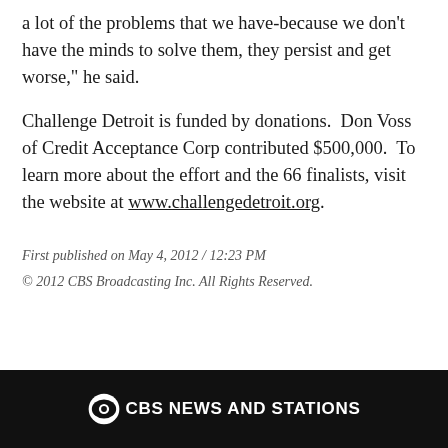a lot of the problems that we have-because we don't have the minds to solve them, they persist and get worse," he said.
Challenge Detroit is funded by donations.  Don Voss of Credit Acceptance Corp contributed $500,000.  To learn more about the effort and the 66 finalists, visit the website at www.challengedetroit.org.
First published on May 4, 2012 / 12:23 PM
© 2012 CBS Broadcasting Inc. All Rights Reserved.
CBS NEWS AND STATIONS